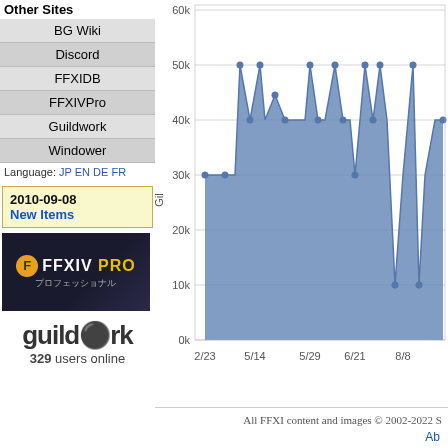Other Sites
BG Wiki
Discord
FFXIDB
FFXIVPro
Guildwork
Windower
Language: JP EN DE FR
2010-09-08
New Items
[Figure (illustration): FFXIV Pro ad banner with logo and Japanese text]
[Figure (logo): Guildwork logo with colorful gear icon]
329 users online
[Figure (area-chart): Gil price history]
All FFXI content and images © 2002-2022 S
Ab